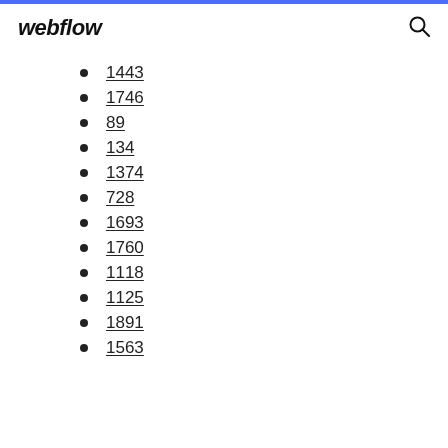webflow
1443
1746
89
134
1374
728
1693
1760
1118
1125
1891
1563